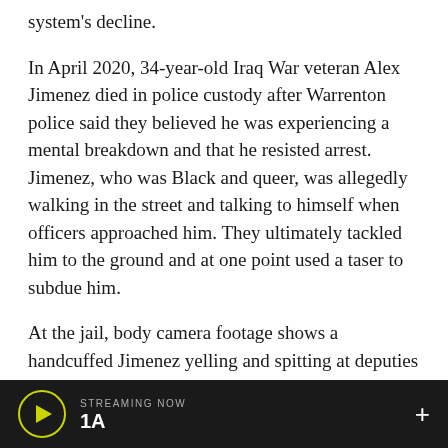system's decline.
In April 2020, 34-year-old Iraq War veteran Alex Jimenez died in police custody after Warrenton police said they believed he was experiencing a mental breakdown and that he resisted arrest. Jimenez, who was Black and queer, was allegedly walking in the street and talking to himself when officers approached him. They ultimately tackled him to the ground and at one point used a taser to subdue him.
At the jail, body camera footage shows a handcuffed Jimenez yelling and spitting at deputies who pull him from a police SUV. As they attempted to restrain him, his body went limp.
STREAMING NOW 1A